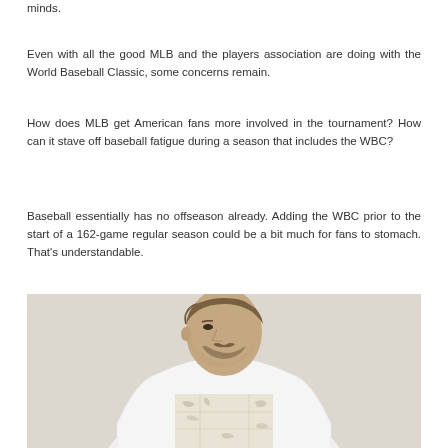minds.
Even with all the good MLB and the players association are doing with the World Baseball Classic, some concerns remain.
How does MLB get American fans more involved in the tournament? How can it stave off baseball fatigue during a season that includes the WBC?
Baseball essentially has no offseason already. Adding the WBC prior to the start of a 162-game regular season could be a bit much for fans to stomach. That's understandable.
[Figure (photo): A man wearing a white t-shirt with a vintage map print on it, photographed from the waist up against a beige/cream background, looking to his right.]